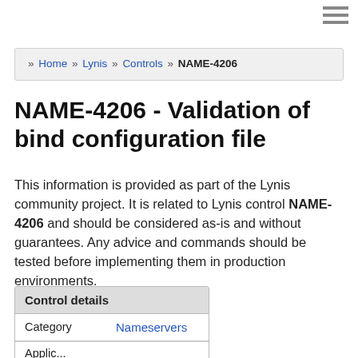≡ (hamburger menu icon)
» Home » Lynis » Controls » NAME-4206
NAME-4206 - Validation of bind configuration file
This information is provided as part of the Lynis community project. It is related to Lynis control NAME-4206 and should be considered as-is and without guarantees. Any advice and commands should be tested before implementing them in production environments.
| Control details |  |
| --- | --- |
| Category | Nameservers |
| Applic... |  |